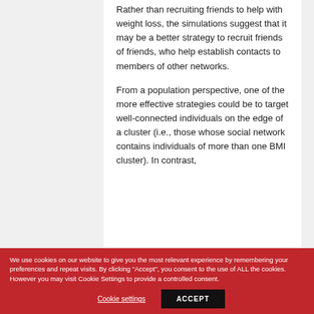Rather than recruiting friends to help with weight loss, the simulations suggest that it may be a better strategy to recruit friends of friends, who help establish contacts to members of other networks.
From a population perspective, one of the more effective strategies could be to target well-connected individuals on the edge of a cluster (i.e., those whose social network contains individuals of more than one BMI cluster). In contrast,
We use cookies on our website to give you the most relevant experience by remembering your preferences and repeat visits. By clicking "Accept", you consent to the use of ALL the cookies. However you may visit Cookie Settings to provide a controlled consent.